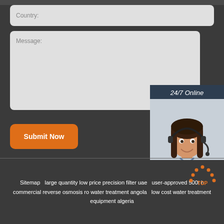Country:
Message:
Submit Now
[Figure (screenshot): 24/7 Online chat widget with a female customer service agent wearing a headset, with 'Click here for free chat!' text and a QUOTATION button]
Sitemap   large quantity low price precision filter uae   user-approved 500t h commercial reverse osmosis ro water treatment angola   low cost water treatment equipment algeria